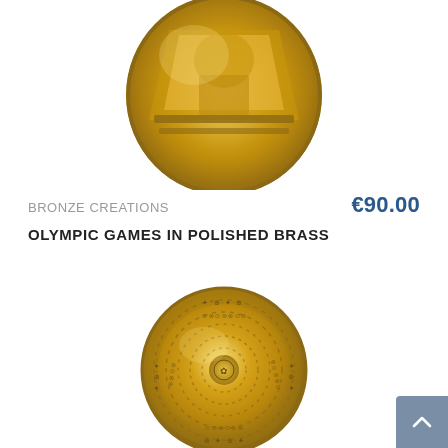[Figure (photo): Gold/brass coin or medal with Olympic Games relief design, partially cropped at top of page]
BRONZE CREATIONS
€90.00
OLYMPIC GAMES IN POLISHED BRASS
[Figure (photo): Round gold/brass coin or disc with circular inscribed text and decorative pattern, Phaistos Disc style]
[Figure (other): Back to top button, grey/blue square with upward arrow]